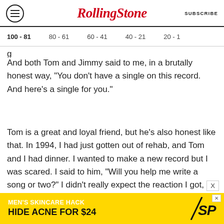Rolling Stone | SUBSCRIBE
100 - 81  80 - 61  60 - 41  40 - 21  20 - 1
And both Tom and Jimmy said to me, in a brutally honest way, "You don't have a single on this record. And here's a single for you."
Tom is a great and loyal friend, but he's also honest like that. In 1994, I had just gotten out of rehab, and Tom and I had dinner. I wanted to make a new record but I was scared. I said to him, "Will you help me write a song or two?" I didn't really expect the reaction I got, which was,
[Figure (other): Advertisement banner: MEN'S SKINCARE HACK - HIDE ACNE FOR $24 with SPY logo on yellow background]